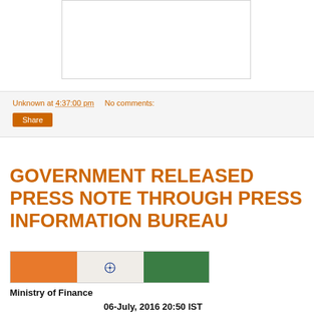[Figure (other): White rectangular image placeholder area at top center of page]
Unknown at 4:37:00 pm   No comments:
[Figure (other): Share button - orange rectangle with white text 'Share']
GOVERNMENT RELEASED PRESS NOTE THROUGH PRESS INFORMATION BUREAU
[Figure (other): Press Information Bureau banner with Indian tricolor - saffron, white with Ashoka Chakra, and green sections]
Ministry of Finance
06-July, 2016 20:50 IST